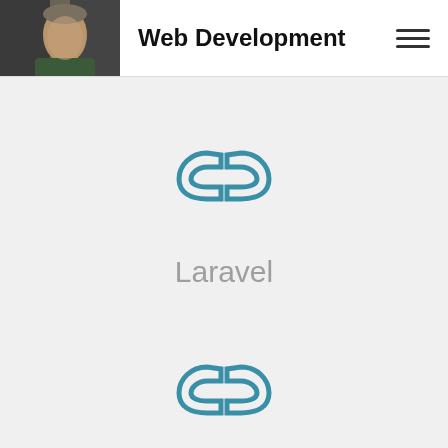Web Development
[Figure (illustration): Chain link icon in teal/steel blue color]
Laravel
[Figure (illustration): Chain link icon in teal/steel blue color]
Codeigniter
[Figure (illustration): Back to top circular button with chain link and arrow icon in grey]